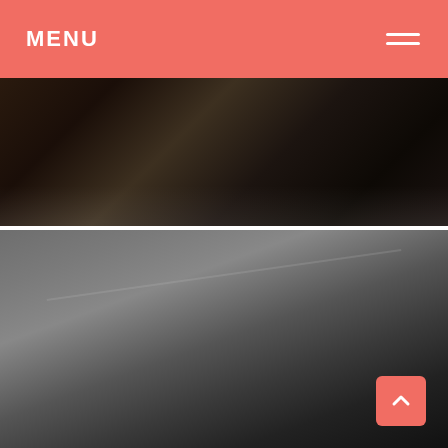MENU
[Figure (photo): Close-up dark photo of a vacuum or dusty surface, dark tones with brown and black hues]
#16 This Vacuum At Work Hadn't Been Cleaned In A While
[Figure (photo): Close-up photo of a gray vacuum filter or component surface with diagonal crease/edge visible]